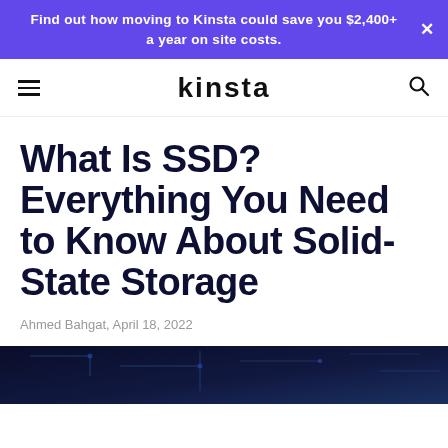Find out how moving to Kinsta could save you $2,400+ a year on site costs.
Kinsta
What Is SSD? Everything You Need to Know About Solid-State Storage
Ahmed Bahgat, April 18, 2022
[Figure (photo): Dark blue circuit board / SSD-themed hero image at the bottom of the page]